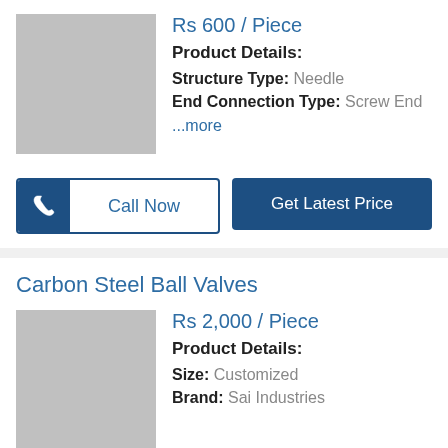Rs 600 / Piece
Product Details:
Structure Type: Needle
End Connection Type: Screw End
...more
Call Now
Get Latest Price
Carbon Steel Ball Valves
Rs 2,000 / Piece
Product Details:
Size: Customized
Brand: Sai Industries